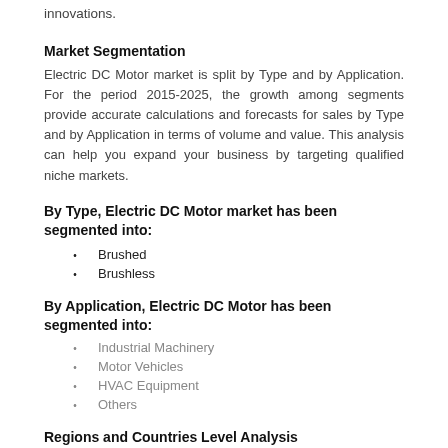innovations.
Market Segmentation
Electric DC Motor market is split by Type and by Application. For the period 2015-2025, the growth among segments provide accurate calculations and forecasts for sales by Type and by Application in terms of volume and value. This analysis can help you expand your business by targeting qualified niche markets.
By Type, Electric DC Motor market has been segmented into:
Brushed
Brushless
By Application, Electric DC Motor has been segmented into:
Industrial Machinery
Motor Vehicles
HVAC Equipment
Others
Regions and Countries Level Analysis
Regional analysis is another highly comprehensive part of the research and analysis study of the global Electric DC Motor market presented in the report. This section sheds light on the sales growth